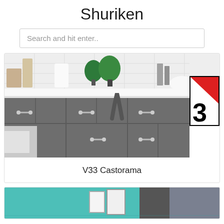Shuriken
Search and hit enter..
[Figure (photo): Kitchen interior with dark gray cabinets and V33 Castorama brand logo in corner]
V33 Castorama
[Figure (photo): Teal/turquoise room interior with framed artwork and dark furniture]